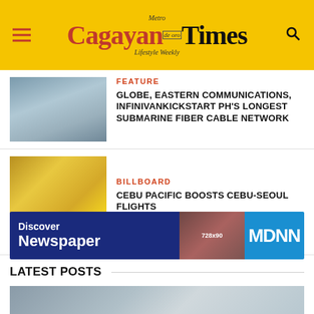Metro Cagayan Times – Lifestyle Weekly
[Figure (photo): Group photo of people outdoors near a structure]
FEATURE
GLOBE, EASTERN COMMUNICATIONS, INFINIVANKICKSTART PH'S LONGEST SUBMARINE FIBER CABLE NETWORK
[Figure (photo): Group photo of people in front of colorful backdrop]
BILLBOARD
CEBU PACIFIC BOOSTS CEBU-SEOUL FLIGHTS
[Figure (infographic): Ad banner: Discover Newspaper 728x90 MDNN]
LATEST POSTS
[Figure (photo): Partial image at bottom of page]